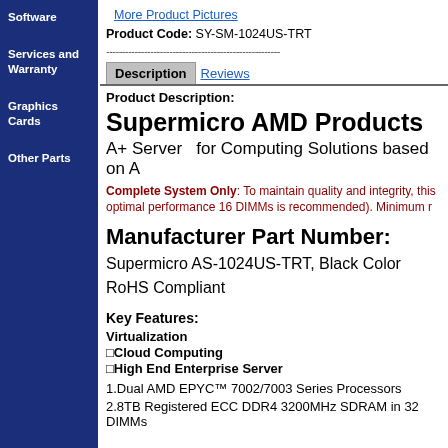Software
Services and Warranty
Graphics Cards
Other Parts
More Product Pictures
Product Code: SY-SM-1024US-TRT
Description  Reviews
Product Description:
Supermicro AMD Products
A+ Server  for Computing Solutions based on A
Complete System Only: To maintain quality and integrity, this... optimal performance 16 DIMMs is recommended). Minimum r...
Manufacturer Part Number:
Supermicro AS-1024US-TRT, Black Color
RoHS Compliant
Key Features:
Virtualization
⬜Cloud Computing
⬜High End Enterprise Server
1.Dual AMD EPYC™ 7002/7003 Series Processors
2.8TB Registered ECC DDR4 3200MHz SDRAM in 32 DIMMs